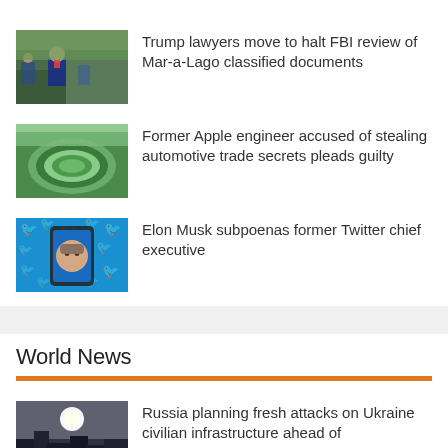Trump lawyers move to halt FBI review of Mar-a-Lago classified documents
Former Apple engineer accused of stealing automotive trade secrets pleads guilty
Elon Musk subpoenas former Twitter chief executive
World News
Russia planning fresh attacks on Ukraine civilian infrastructure ahead of independence